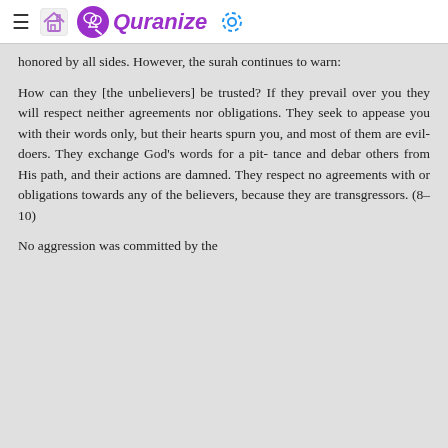≡ 🏠 Quranize ⚙
honored by all sides. However, the surah continues to warn:
How can they [the unbelievers] be trusted? If they prevail over you they will respect neither agreements nor obligations. They seek to appease you with their words only, but their hearts spurn you, and most of them are evil-doers. They exchange God's words for a pit- tance and debar others from His path, and their actions are damned. They respect no agreements with or obligations towards any of the believers, because they are transgressors. (8–10)
No aggression was committed by the